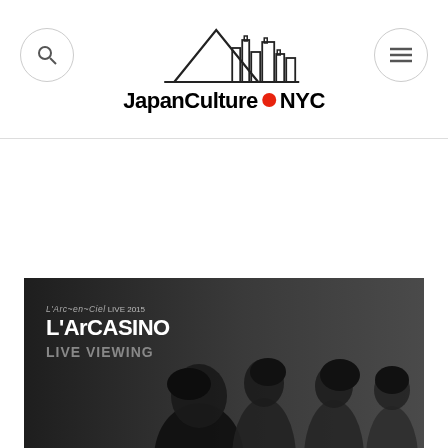[Figure (logo): JapanCulture NYC logo with mountain and city skyline SVG illustration above the text, search icon circle button on left, hamburger menu circle button on right]
[Figure (photo): Banner image for L'Arc-en-Ciel LIVE 2015 L'ArCASINO LIVE VIEWING event, showing four band members in dark clothing against a grey background with event text overlay on the left side]